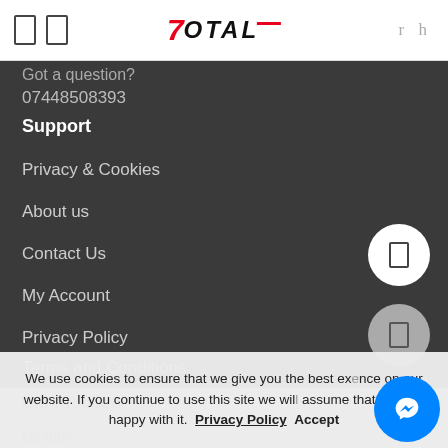7Total
Got a question?
07448508393
Support
Privacy & Cookies
About us
Contact Us
My Account
Privacy Policy
Terms and Conditions
Our Products
We use cookies to ensure that we give you the best experience on our website. If you continue to use this site we will assume that you are happy with it.  Privacy Policy  Accept